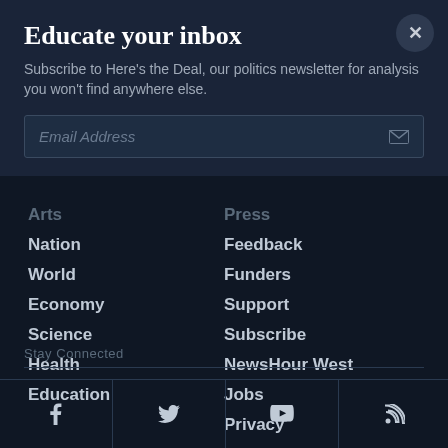Educate your inbox
Subscribe to Here's the Deal, our politics newsletter for analysis you won't find anywhere else.
Email Address
Arts
Nation
World
Economy
Science
Health
Education
Press
Feedback
Funders
Support
Subscribe
NewsHour West
Jobs
Privacy
Stay Connected
[Figure (other): Social media icons: Facebook, Twitter, YouTube, RSS feed]